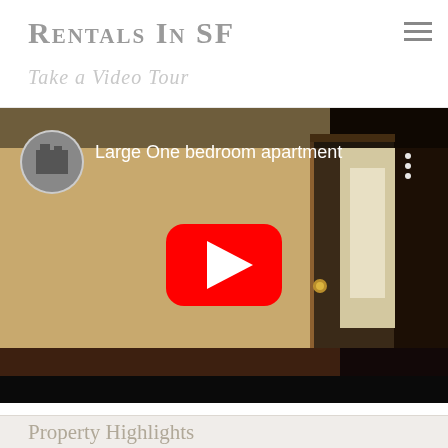Rentals In SF
Take a Video Tour
[Figure (screenshot): YouTube video thumbnail showing interior of a large one bedroom apartment with title overlay 'Large One bedroom apartment' and a red YouTube play button in the center]
Property Highlights
- One Bedroom
- One Bathroom